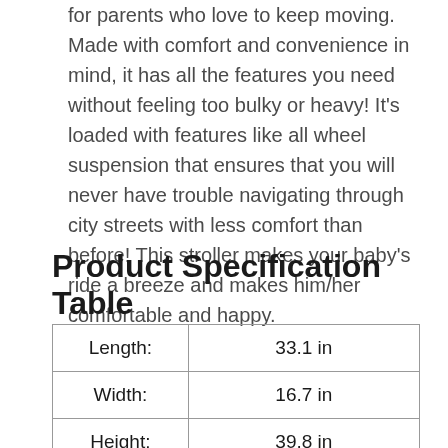for parents who love to keep moving. Made with comfort and convenience in mind, it has all the features you need without feeling too bulky or heavy! It's loaded with features like all wheel suspension that ensures that you will never have trouble navigating through city streets with less comfort than before! This stroller makes your baby's ride a breeze and makes him/her comfortable and happy.
Product Specification Table
| Length: | 33.1 in |
| Width: | 16.7 in |
| Height: | 39.8 in |